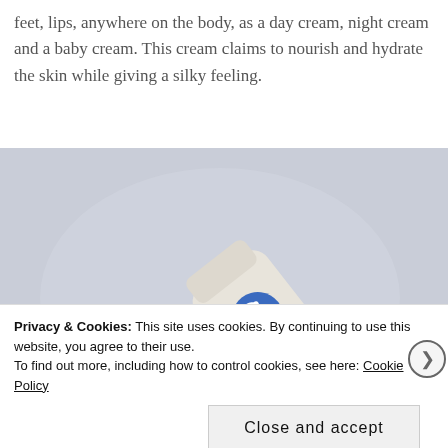feet, lips, anywhere on the body, as a day cream, night cream and a baby cream. This cream claims to nourish and hydrate the skin while giving a silky feeling.
[Figure (photo): A cream tube with 'lanolin Cano' branding and blue logo, lying diagonally on a light blue-grey background, with a small dollop of white cream beside it.]
Privacy & Cookies: This site uses cookies. By continuing to use this website, you agree to their use.
To find out more, including how to control cookies, see here: Cookie Policy
Close and accept